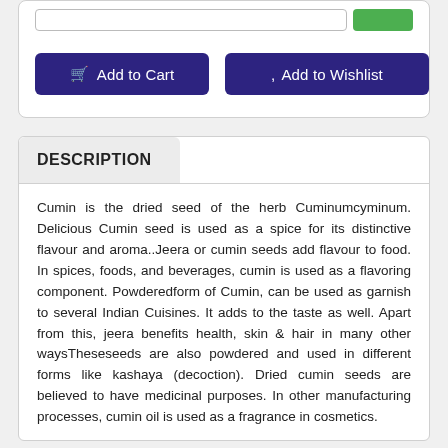[Figure (screenshot): Top section with search bar and green button, inside a card with light gray background]
🛒 Add to Cart
, Add to Wishlist
DESCRIPTION
Cumin is the dried seed of the herb Cuminumcyminum. Delicious Cumin seed is used as a spice for its distinctive flavour and aroma..Jeera or cumin seeds add flavour to food. In spices, foods, and beverages, cumin is used as a flavoring component. Powderedform of Cumin, can be used as garnish to several Indian Cuisines. It adds to the taste as well. Apart from this, jeera benefits health, skin & hair in many other waysTheseseeds are also powdered and used in different forms like kashaya (decoction). Dried cumin seeds are believed to have medicinal purposes. In other manufacturing processes, cumin oil is used as a fragrance in cosmetics.